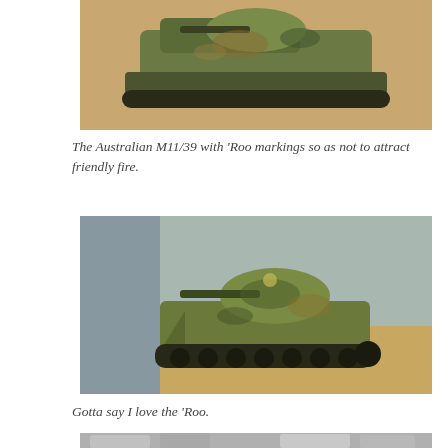[Figure (photo): Close-up photo of a miniature Australian M11/39 tank model with camouflage paint, viewed from the front/top, on a sandy-colored surface.]
The Australian M11/39 with ‘Roo markings so as not to attract friendly fire.
[Figure (photo): Side-view photo of a miniature Australian M11/39 tank model with green camouflage paint and kangaroo markings, on a sandy surface with blue background.]
Gotta say I love the ‘Roo.
[Figure (photo): Partial photo showing grey foam/plastic modular terrain pieces with a small tank model visible in the background.]